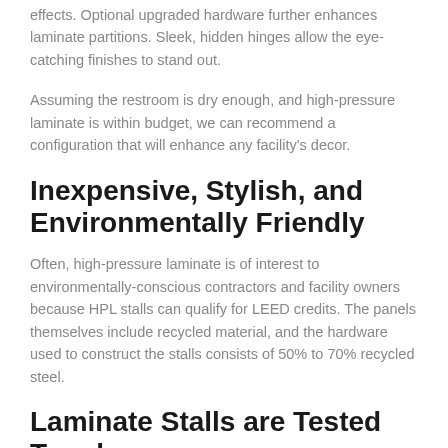effects. Optional upgraded hardware further enhances laminate partitions. Sleek, hidden hinges allow the eye-catching finishes to stand out.
Assuming the restroom is dry enough, and high-pressure laminate is within budget, we can recommend a configuration that will enhance any facility's decor.
Inexpensive, Stylish, and Environmentally Friendly
Often, high-pressure laminate is of interest to environmentally-conscious contractors and facility owners because HPL stalls can qualify for LEED credits. The panels themselves include recycled material, and the hardware used to construct the stalls consists of 50% to 70% recycled steel.
Laminate Stalls are Tested Tough